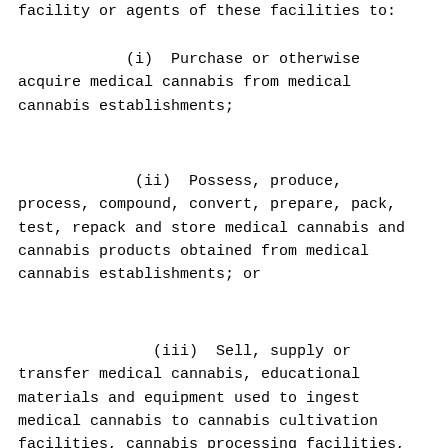facility or agents of these facilities to:
(i)  Purchase or otherwise acquire medical cannabis from medical cannabis establishments;
(ii)  Possess, produce, process, compound, convert, prepare, pack, test, repack and store medical cannabis and cannabis products obtained from medical cannabis establishments; or
(iii)  Sell, supply or transfer medical cannabis, educational materials and equipment used to ingest medical cannabis to cannabis cultivation facilities, cannabis processing facilities,